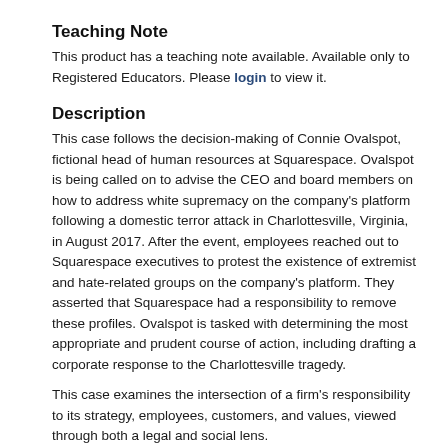Teaching Note
This product has a teaching note available. Available only to Registered Educators. Please login to view it.
Description
This case follows the decision-making of Connie Ovalspot, fictional head of human resources at Squarespace. Ovalspot is being called on to advise the CEO and board members on how to address white supremacy on the company's platform following a domestic terror attack in Charlottesville, Virginia, in August 2017. After the event, employees reached out to Squarespace executives to protest the existence of extremist and hate-related groups on the company's platform. They asserted that Squarespace had a responsibility to remove these profiles. Ovalspot is tasked with determining the most appropriate and prudent course of action, including drafting a corporate response to the Charlottesville tragedy.
This case examines the intersection of a firm's responsibility to its strategy, employees, customers, and values, viewed through both a legal and social lens.
Teaching Objectives